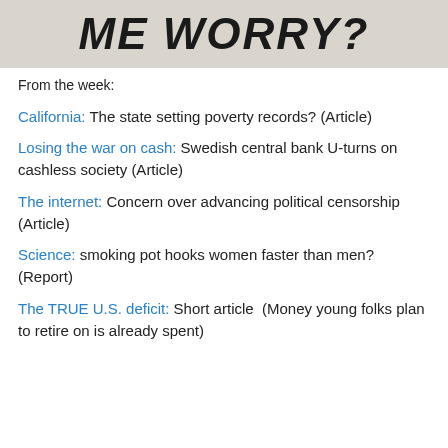[Figure (photo): Large bold italic text reading 'ME WORRY?' on a gray/beige textured background, partial text visible at top of page]
From the week:
California: The state setting poverty records? (Article)
Losing the war on cash: Swedish central bank U-turns on cashless society (Article)
The internet: Concern over advancing political censorship (Article)
Science: smoking pot hooks women faster than men? (Report)
The TRUE U.S. deficit: Short article  (Money young folks plan to retire on is already spent)